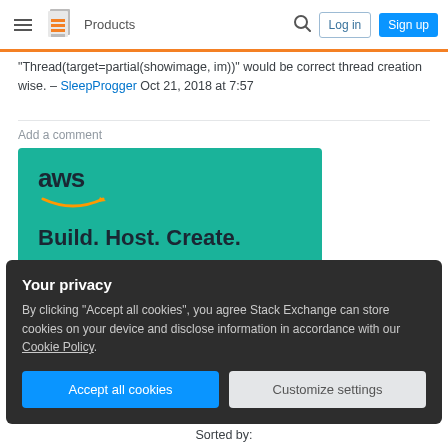Stack Overflow navigation bar with hamburger menu, logo, Products, search, Log in, Sign up
"Thread(target=partial(showimage, im))" would be correct thread creation wise. – SleepProgger Oct 21, 2018 at 7:57
Add a comment
[Figure (illustration): AWS advertisement banner with teal background showing aws logo and text: Build. Host. Create. Get started for free ›]
Your privacy
By clicking "Accept all cookies", you agree Stack Exchange can store cookies on your device and disclose information in accordance with our Cookie Policy.
Accept all cookies   Customize settings
Sorted by: